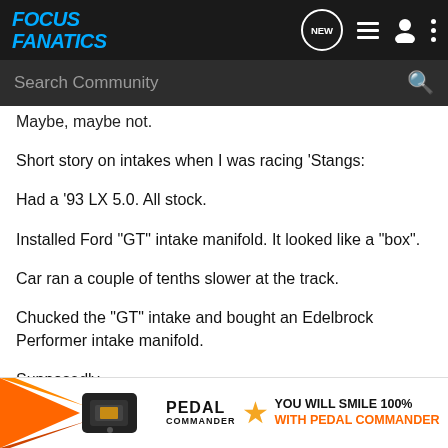FOCUS FANATICS
Maybe, maybe not.
Short story on intakes when I was racing 'Stangs:
Had a '93 LX 5.0. All stock.
Installed Ford "GT" intake manifold. It looked like a "box".
Car ran a couple of tenths slower at the track.
Chucked the "GT" intake and bought an Edelbrock Performer intake manifold.
Supposedly...
It was...
[Figure (infographic): Pedal Commander advertisement banner with orange/black graphic on left, Pedal Commander logo with star, and text 'YOU WILL SMILE 100% WITH PEDAL COMMANDER']